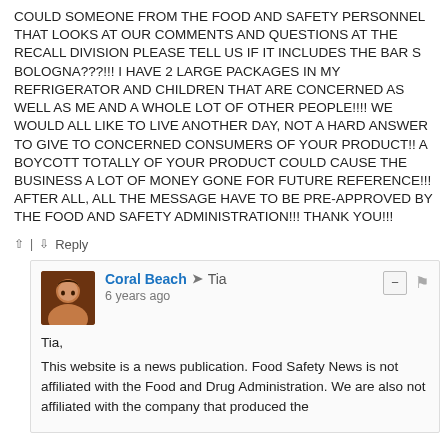COULD SOMEONE FROM THE FOOD AND SAFETY PERSONNEL THAT LOOKS AT OUR COMMENTS AND QUESTIONS AT THE RECALL DIVISION PLEASE TELL US IF IT INCLUDES THE BAR S BOLOGNA???!!! I HAVE 2 LARGE PACKAGES IN MY REFRIGERATOR AND CHILDREN THAT ARE CONCERNED AS WELL AS ME AND A WHOLE LOT OF OTHER PEOPLE!!!! WE WOULD ALL LIKE TO LIVE ANOTHER DAY, NOT A HARD ANSWER TO GIVE TO CONCERNED CONSUMERS OF YOUR PRODUCT!! A BOYCOTT TOTALLY OF YOUR PRODUCT COULD CAUSE THE BUSINESS A LOT OF MONEY GONE FOR FUTURE REFERENCE!!! AFTER ALL, ALL THE MESSAGE HAVE TO BE PRE-APPROVED BY THE FOOD AND SAFETY ADMINISTRATION!!! THANK YOU!!!
Reply
Coral Beach → Tia
6 years ago
Tia,
This website is a news publication. Food Safety News is not affiliated with the Food and Drug Administration. We are also not affiliated with the company that produced the